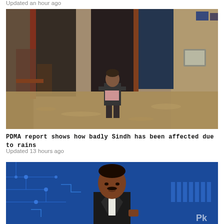Updated an hour ago
[Figure (photo): A boy wading through floodwater inside a damaged building with muddy water filling the interior courtyard]
PDMA report shows how badly Sindh has been affected due to rains
Updated 13 hours ago
[Figure (photo): A man in a suit speaking at a press conference against a blue circuit-board graphic background, with a partial 'Pk' watermark visible]